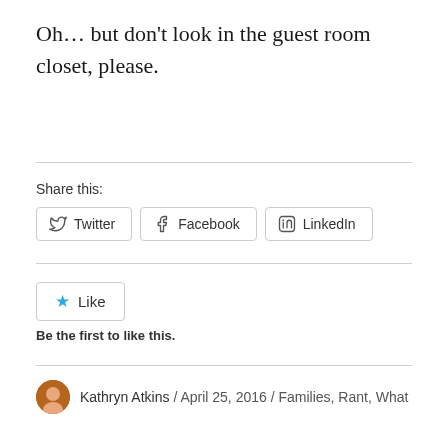Oh… but don't look in the guest room closet, please.
Share this:
Twitter  Facebook  LinkedIn
Like
Be the first to like this.
Kathryn Atkins / April 25, 2016 / Families, Rant, What